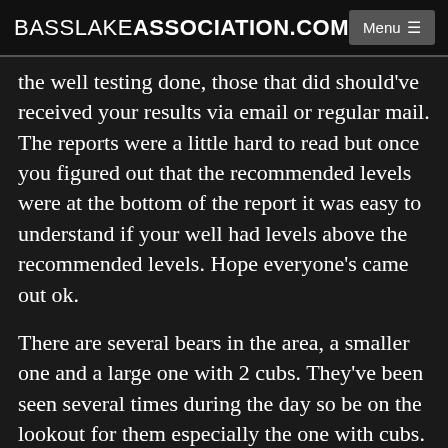BASSLAKEASSOCIATION.COM
the well testing done, those that did should've received your results via email or regular mail. The reports were a little hard to read but once you figured out that the recommended levels were at the bottom of the report it was easy to understand if your well had levels above the recommended levels. Hope everyone's came out ok.
There are several bears in the area, a smaller one and a large one with 2 cubs. They've been seen several times during the day so be on the lookout for them especially the one with cubs.
The DNR has been on the lake and has stopped